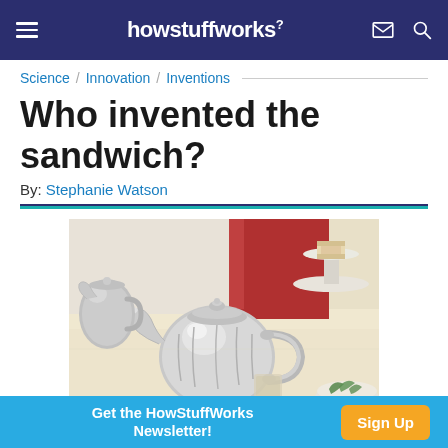howstuffworks
Science / Innovation / Inventions
Who invented the sandwich?
By: Stephanie Watson
[Figure (photo): Silver teapot and tea service on a table with sandwiches in the background]
Get the HowStuffWorks Newsletter! Sign Up